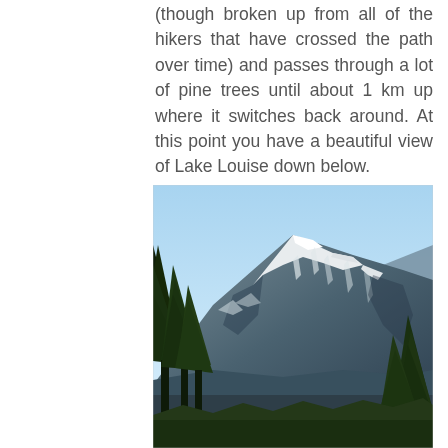(though broken up from all of the hikers that have crossed the path over time) and passes through a lot of pine trees until about 1 km up where it switches back around. At this point you have a beautiful view of Lake Louise down below.
[Figure (photo): Photo of a snow-capped mountain range with pine trees in the foreground and a clear blue sky above. The mountain has rocky faces with patches of snow and is viewed from below, likely from a hiking trail near Lake Louise.]